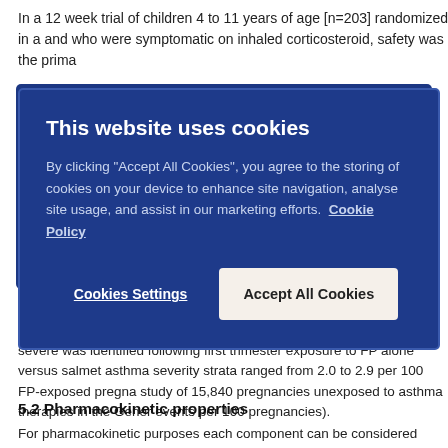In a 12 week trial of children 4 to 11 years of age [n=203] randomized in a and who were symptomatic on inhaled corticosteroid, safety was the prima
[Figure (screenshot): Cookie consent dialog box with dark blue background. Title: 'This website uses cookies'. Body text: 'By clicking "Accept All Cookies", you agree to the storing of cookies on your device to enhance site navigation, analyse site usage, and assist in our marketing efforts. Cookie Policy'. Two buttons: 'Cookies Settings' and 'Accept All Cookies'.]
asthma and 1.2 (95%CI: 0.7 – 2.0) for women with considerable to severe was identified following first trimester exposure to FP alone versus salmet asthma severity strata ranged from 2.0 to 2.9 per 100 FP-exposed pregna study of 15,840 pregnancies unexposed to asthma therapies in the Gener events per 100 pregnancies).
5.2 Pharmacokinetic properties
For pharmacokinetic purposes each component can be considered separa
Salmeterol:
Salmeterol acts locally in the lung therefore plasma levels are not an indic are only limited data available on the pharmacokinetics of salmeterol beca drug in plasma due to the low plasma concentrations at therapeutic dose